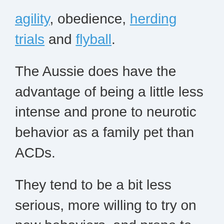agility, obedience, herding trials and flyball.
The Aussie does have the advantage of being a little less intense and prone to neurotic behavior as a family pet than ACDs.
They tend to be a bit less serious, more willing to try on new behaviors, and prone to seek out fun games to get their owner’s attention.
They are very intelligent and train willingly, particularly with positive training techniques. They tend to be good with children, although they are sometimes sassy with other dogs so